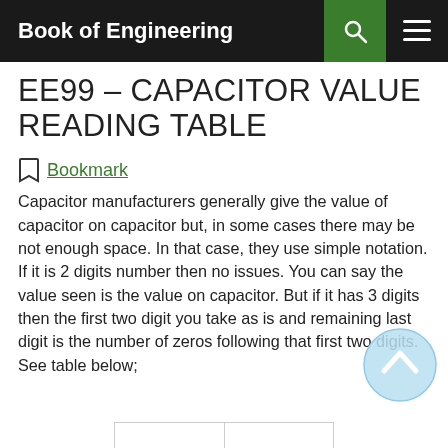Book of Engineering
EE99 – CAPACITOR VALUE READING TABLE
Bookmark
Capacitor manufacturers generally give the value of capacitor on capacitor but, in some cases there may be not enough space. In that case, they use simple notation. If it is 2 digits number then no issues. You can say the value seen is the value on capacitor. But if it has 3 digits then the first two digit you take as is and remaining last digit is the number of zeros following that first two digits. See table below;